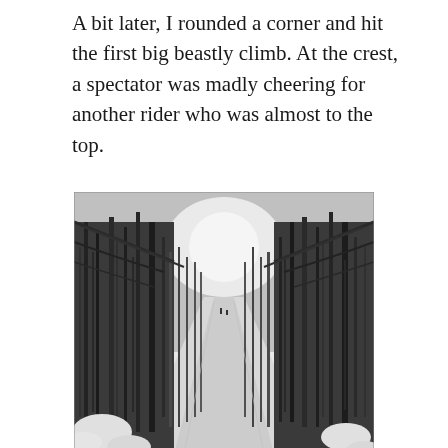A bit later, I rounded a corner and hit the first big beastly climb. At the crest, a spectator was madly cheering for another rider who was almost to the top.
[Figure (photo): Black and white winter photograph of a snow-covered trail cutting through a dense forest of bare deciduous trees. The trail leads straight into the distance with a bright overcast sky at the vanishing point. Two tiny figures of riders are visible far down the trail. Snow covers the ground and low shrubs frame the foreground.]